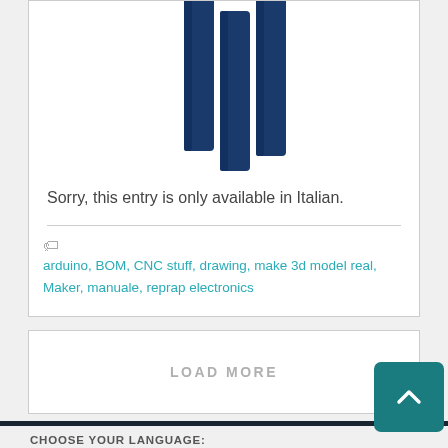[Figure (illustration): Partial view of dark navy blue vertical bars/pipes against a white background, cropped at the top]
Sorry, this entry is only available in Italian.
arduino, BOM, CNC stuff, drawing, make 3d model real, Maker, manuale, reprap electronics
LOAD MORE
CHOOSE YOUR LANGUAGE: